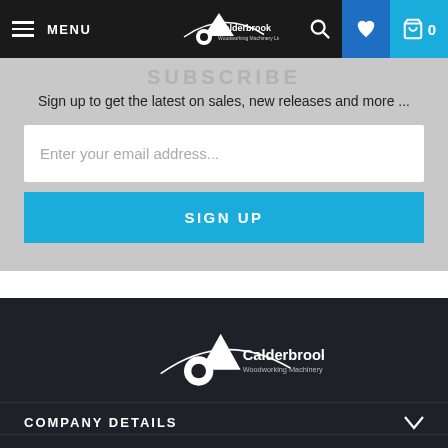MENU | Calderbrook Woodworking Machinery Ltd | Search | Wishlist | Cart 0
SUBSCRIBE
Sign up to get the latest on sales, new releases and more ...
Enter your email address...
SIGN UP
[Figure (logo): Calderbrook Woodworking Machinery Ltd logo — white stylized tree and saw blade with arc above, on dark background]
COMPANY DETAILS
OUR ADDRESS